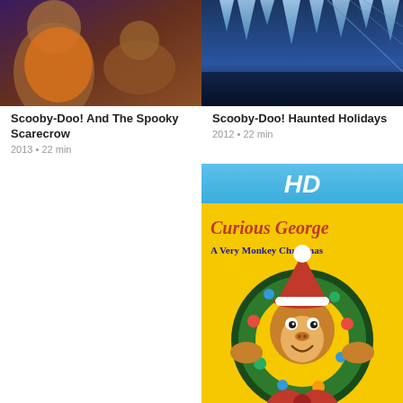[Figure (screenshot): Thumbnail for Scooby-Doo! And The Spooky Scarecrow animated movie showing cartoon characters]
[Figure (screenshot): Thumbnail for Scooby-Doo! Haunted Holidays animated movie showing icy/dark scene]
Scooby-Doo! And The Spooky Scarecrow
2013 • 22 min
Scooby-Doo! Haunted Holidays
2012 • 22 min
[Figure (screenshot): Curious George: A Very Monkey Christmas movie poster/thumbnail with HD badge, yellow background, monkey with Santa hat in wreath, red All-New Movie banner]
Curious George: A Very Monkey